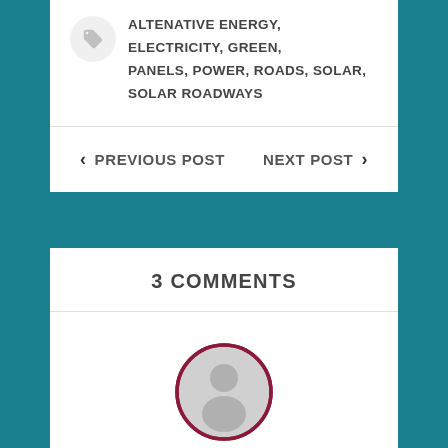contacting my MP too.
ALTENATIVE ENERGY, ELECTRICITY, GREEN, PANELS, POWER, ROADS, SOLAR, SOLAR ROADWAYS
PREVIOUS POST
NEXT POST
3 COMMENTS
[Figure (illustration): Default user avatar circle with person silhouette icon, outlined in dark red/maroon]